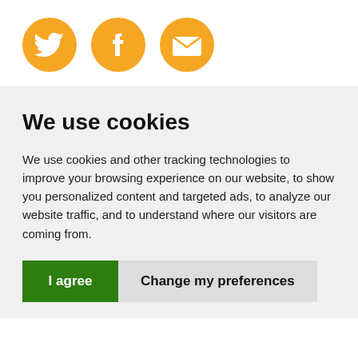[Figure (illustration): Three orange circular social media icons: Twitter bird icon, Facebook 'f' icon, and an envelope/email icon, arranged horizontally.]
We use cookies
We use cookies and other tracking technologies to improve your browsing experience on our website, to show you personalized content and targeted ads, to analyze our website traffic, and to understand where our visitors are coming from.
I agree | Change my preferences